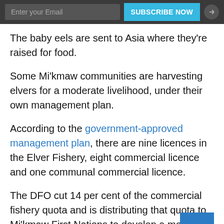Enter your Email | SUBSCRIBE NOW
The baby eels are sent to Asia where they're raised for food.
Some Mi'kmaw communities are harvesting elvers for a moderate livelihood, under their own management plan.
According to the government-approved management plan, there are nine licences in the Elver Fishery, eight commercial licence and one communal commercial licence.
The DFO cut 14 per cent of the commercial fishery quota and is distributing that quota to Mi'kmaw First Nations to develop a moderate livelihood fishery.
Elvers are the latest resource the federal